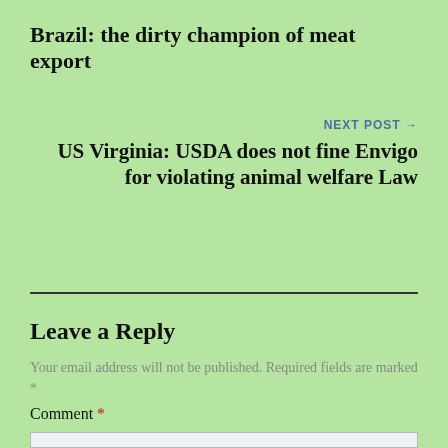Brazil: the dirty champion of meat export
NEXT POST →
US Virginia: USDA does not fine Envigo for violating animal welfare Law
Leave a Reply
Your email address will not be published. Required fields are marked *
Comment *